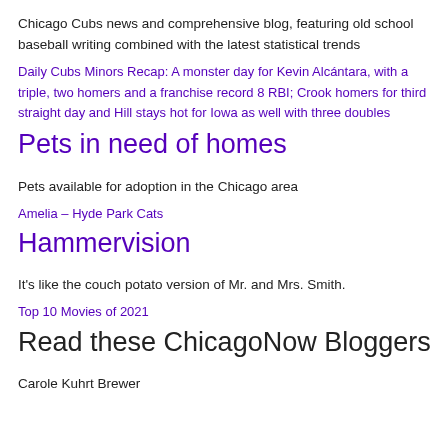Chicago Cubs news and comprehensive blog, featuring old school baseball writing combined with the latest statistical trends
Daily Cubs Minors Recap: A monster day for Kevin Alcántara, with a triple, two homers and a franchise record 8 RBI; Crook homers for third straight day and Hill stays hot for Iowa as well with three doubles
Pets in need of homes
Pets available for adoption in the Chicago area
Amelia – Hyde Park Cats
Hammervision
It's like the couch potato version of Mr. and Mrs. Smith.
Top 10 Movies of 2021
Read these ChicagoNow Bloggers
Carole Kuhrt Brewer